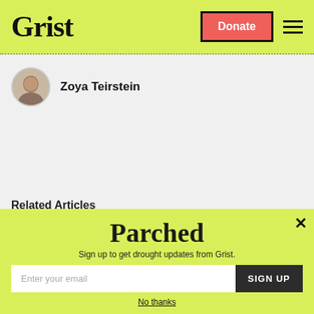Grist
Zoya Teirstein
Related Articles
[Figure (screenshot): Parched newsletter signup modal overlay with lime green background, 'Parched' logo, email input field, SIGN UP button, and 'No thanks' link]
Sign up to get drought updates from Grist.
Enter your email
SIGN UP
No thanks